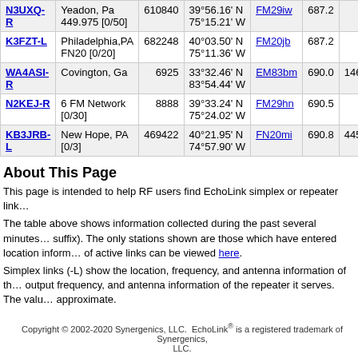| Callsign | Location | Node | Coordinates | Grid | Miles | Freq |
| --- | --- | --- | --- | --- | --- | --- |
| N3UXQ-R | Yeadon, Pa
449.975 [0/50] | 610840 | 39°56.16' N
75°15.21' W | FM29iw | 687.2 |  |
| K3FZT-L | Philadelphia,PA
FN20 [0/20] | 682248 | 40°03.50' N
75°11.36' W | FM20jb | 687.2 |  |
| WA4ASI-R | Covington, Ga | 6925 | 33°32.46' N
83°54.44' W | EM83bm | 690.0 | 146.92 |
| N2KEJ-R | 6 FM Network
[0/30] | 8888 | 39°33.24' N
75°24.02' W | FM29hn | 690.5 |  |
| KB3JRB-L | New Hope, PA
[0/3] | 469422 | 40°21.95' N
74°57.90' W | FN20mi | 690.8 | 445.52 |
About This Page
This page is intended to help RF users find EchoLink simplex or repeater links near you.
The table above shows information collected during the past several minutes from stations sending RF beacons (stations with an -R or -L suffix). The only stations shown are those which have entered location information in their user profile. A fuller list of active links can be viewed here.
Simplex links (-L) show the location, frequency, and antenna information of the link itself. Repeater links (-R) show the output frequency, and antenna information of the repeater it serves. The values shown in the Distance column are approximate.
Copyright © 2002-2020 Synergenics, LLC.  EchoLink® is a registered trademark of Synergenics, LLC.